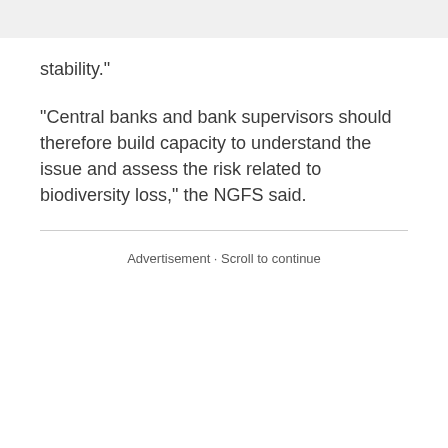stability."
"Central banks and bank supervisors should therefore build capacity to understand the issue and assess the risk related to biodiversity loss," the NGFS said.
Advertisement · Scroll to continue